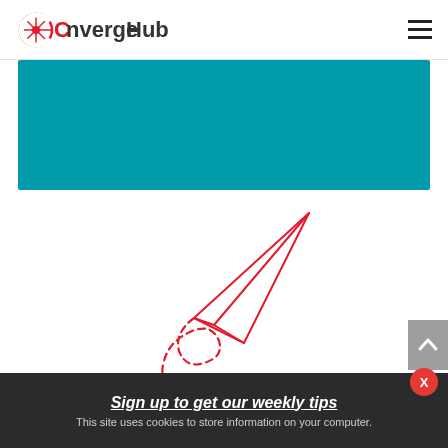ConvergeHub
[Figure (other): Teal/cyan colored banner rectangle]
[Figure (illustration): Red outline paper airplane with dashed loop trail below it]
[Figure (other): Gray scroll-to-top button with white upward caret on the right side]
Sign up to get our weekly tips
This site uses cookies to store information on your computer.